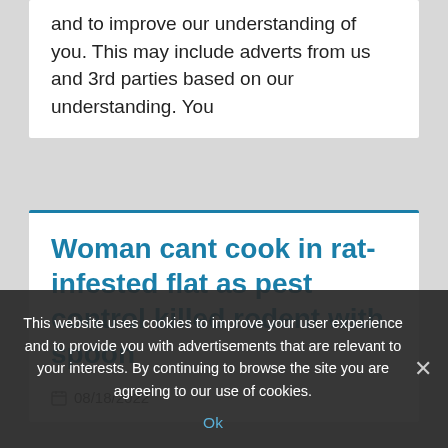and to improve our understanding of you. This may include adverts from us and 3rd parties based on our understanding. You
Woman cant cook in rat-infested flat as pest control killed rodent with spoon
08/18/2022
This website uses cookies to improve your user experience and to provide you with advertisements that are relevant to your interests. By continuing to browse the site you are agreeing to our use of cookies.
Ok